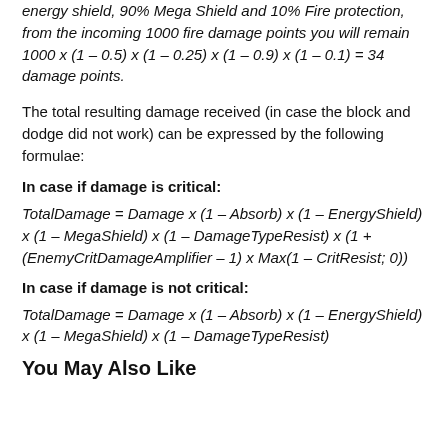energy shield, 90% Mega Shield and 10% Fire protection, from the incoming 1000 fire damage points you will remain 1000 x (1 – 0.5) x (1 – 0.25) x (1 – 0.9) x (1 – 0.1) = 34 damage points.
The total resulting damage received (in case the block and dodge did not work) can be expressed by the following formulae:
In case if damage is critical:
In case if damage is not critical:
You May Also Like